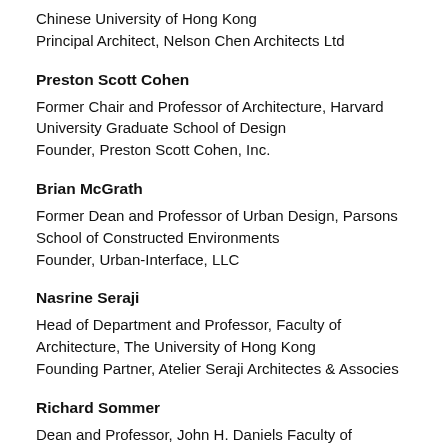Chinese University of Hong Kong
Principal Architect, Nelson Chen Architects Ltd
Preston Scott Cohen
Former Chair and Professor of Architecture, Harvard University Graduate School of Design
Founder, Preston Scott Cohen, Inc.
Brian McGrath
Former Dean and Professor of Urban Design, Parsons School of Constructed Environments
Founder, Urban-Interface, LLC
Nasrine Seraji
Head of Department and Professor, Faculty of Architecture, The University of Hong Kong
Founding Partner, Atelier Seraji Architectes & Associes
Richard Sommer
Dean and Professor, John H. Daniels Faculty of Architecture, Landscape and Design, University of Toronto